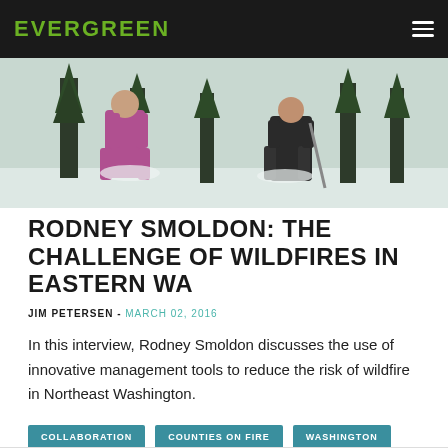EVERGREEN
[Figure (photo): Two people standing in a snowy forest with tall evergreen trees in the background.]
RODNEY SMOLDON: THE CHALLENGE OF WILDFIRES IN EASTERN WA
JIM PETERSEN - MARCH 02, 2016
In this interview, Rodney Smoldon discusses the use of innovative management tools to reduce the risk of wildfire in Northeast Washington.
COLLABORATION
COUNTIES ON FIRE
WASHINGTON